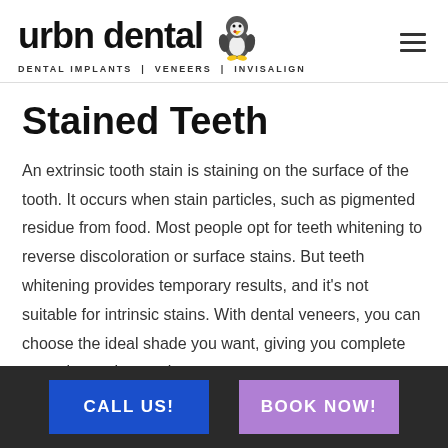urbn dental | DENTAL IMPLANTS | VENEERS | INVISALIGN
Stained Teeth
An extrinsic tooth stain is staining on the surface of the tooth. It occurs when stain particles, such as pigmented residue from food. Most people opt for teeth whitening to reverse discoloration or surface stains. But teeth whitening provides temporary results, and it's not suitable for intrinsic stains. With dental veneers, you can choose the ideal shade you want, giving you complete control over the results.
CALL US! | BOOK NOW!